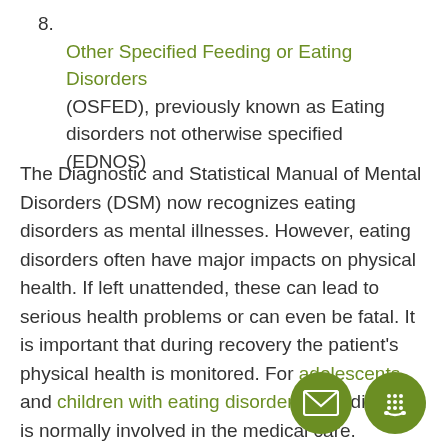8. Other Specified Feeding or Eating Disorders (OSFED), previously known as Eating disorders not otherwise specified (EDNOS)
The Diagnostic and Statistical Manual of Mental Disorders (DSM) now recognizes eating disorders as mental illnesses. However, eating disorders often have major impacts on physical health. If left unattended, these can lead to serious health problems or can even be fatal. It is important that during recovery the patient's physical health is monitored. For adolescents and children with eating disorders, a pediatrician is normally involved in the medical care.
[Figure (infographic): Two green circular icon buttons: an envelope/email icon and a telephone/phone icon]